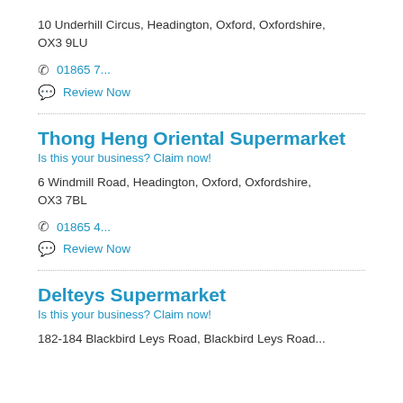10 Underhill Circus, Headington, Oxford, Oxfordshire, OX3 9LU
01865 7...
Review Now
Thong Heng Oriental Supermarket
Is this your business? Claim now!
6 Windmill Road, Headington, Oxford, Oxfordshire, OX3 7BL
01865 4...
Review Now
Delteys Supermarket
Is this your business? Claim now!
182-184 Blackbird Leys Road, Blackbird Leys Road...